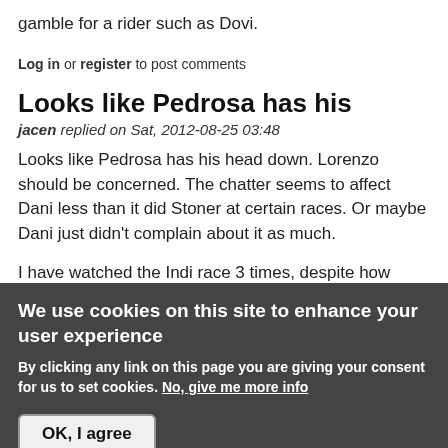gamble for a rider such as Dovi.
Log in or register to post comments
Looks like Pedrosa has his
jacen replied on Sat, 2012-08-25 03:48
Looks like Pedrosa has his head down. Lorenzo should be concerned. The chatter seems to affect Dani less than it did Stoner at certain races. Or maybe Dani just didn't complain about it as much.
I have watched the Indi race 3 times, despite how boring
We use cookies on this site to enhance your user experience
By clicking any link on this page you are giving your consent for us to set cookies. No, give me more info
OK, I agree